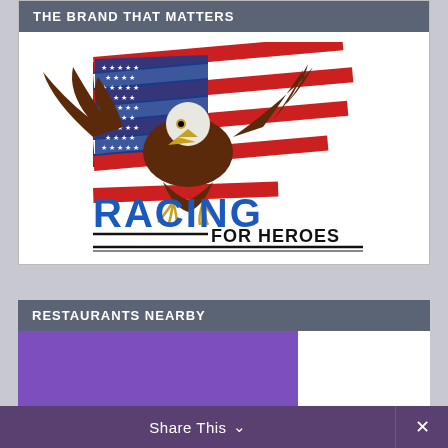THE BRAND THAT MATTERS
[Figure (logo): Racing for Heroes logo: bald eagle with spread wings overlaid on a waving American flag, with blue text 'RACING' and black text 'FOR HEROES' below, with horizontal black lines]
RESTAURANTS NEARBY
Share This ∨